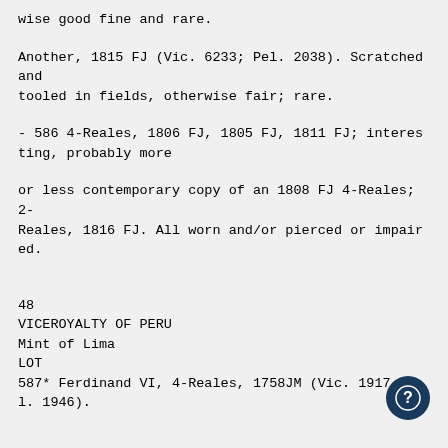wise good fine and rare.
Another, 1815 FJ (Vic. 6233; Pel. 2038). Scratched and tooled in fields, otherwise fair; rare.
- 586 4-Reales, 1806 FJ, 1805 FJ, 1811 FJ; interesting, probably more
or less contemporary copy of an 1808 FJ 4-Reales; 2-Reales, 1816 FJ. All worn and/or pierced or impaired.
48
VICEROYALTY OF PERU
Mint of Lima
LOT
587* Ferdinand VI, 4-Reales, 1758JM (Vic. 1917; l. 1946).